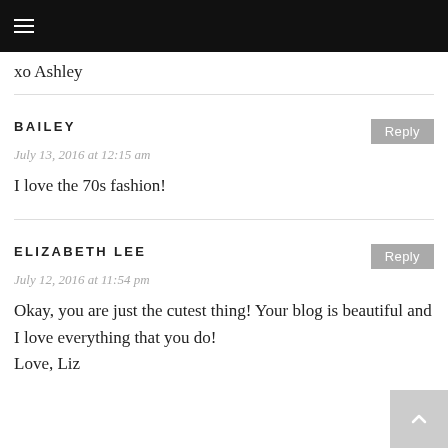☰
xo Ashley
BAILEY
July 13, 2016 at 12:15 am
I love the 70s fashion!
ELIZABETH LEE
July 12, 2016 at 11:54 pm
Okay, you are just the cutest thing! Your blog is beautiful and I love everything that you do!
Love, Liz